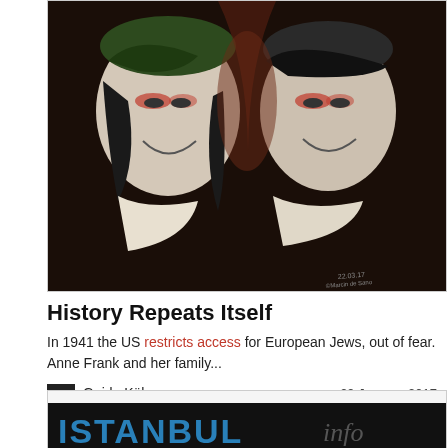[Figure (photo): Artwork showing two smiling faces with colored accents (red and green paint overlaid on black-and-white portrait photographs), dark background, small signature/text in bottom right corner.]
History Repeats Itself
In 1941 the US restricts access for European Jews, out of fear. Anne Frank and her family...
Guido Kühn   29 January 2017
[Figure (photo): Partial image showing 'ISTANBUL info' text in blue and handwritten lettering on a dark background — partially cropped at bottom of page.]